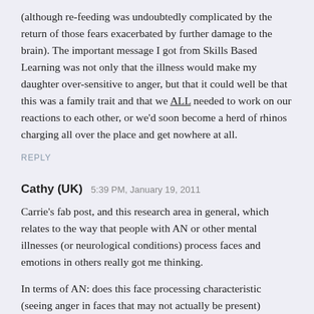(although re-feeding was undoubtedly complicated by the return of those fears exacerbated by further damage to the brain). The important message I got from Skills Based Learning was not only that the illness would make my daughter over-sensitive to anger, but that it could well be that this was a family trait and that we ALL needed to work on our reactions to each other, or we'd soon become a herd of rhinos charging all over the place and get nowhere at all.
REPLY
Cathy (UK)  5:39 PM, January 19, 2011
Carrie's fab post, and this research area in general, which relates to the way that people with AN or other mental illnesses (or neurological conditions) process faces and emotions in others really got me thinking.
In terms of AN: does this face processing characteristic (seeing anger in faces that may not actually be present) develop as a